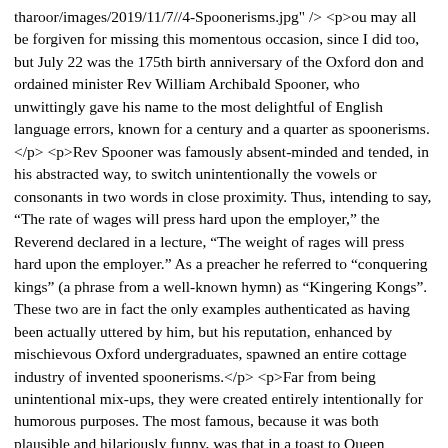tharoor/images/2019/11/7//4-Spoonerisms.jpg" /> <p>ou may all be forgiven for missing this momentous occasion, since I did too, but July 22 was the 175th birth anniversary of the Oxford don and ordained minister Rev William Archibald Spooner, who unwittingly gave his name to the most delightful of English language errors, known for a century and a quarter as spoonerisms. </p> <p>Rev Spooner was famously absent-minded and tended, in his abstracted way, to switch unintentionally the vowels or consonants in two words in close proximity. Thus, intending to say, “The rate of wages will press hard upon the employer,” the Reverend declared in a lecture, “The weight of rages will press hard upon the employer.” As a preacher he referred to “conquering kings” (a phrase from a well-known hymn) as “Kingering Kongs”. These two are in fact the only examples authenticated as having been actually uttered by him, but his reputation, enhanced by mischievous Oxford undergraduates, spawned an entire cottage industry of invented spoonerisms.</p> <p>Far from being unintentional mix-ups, they were created entirely intentionally for humorous purposes. The most famous, because it was both plausible and hilariously funny, was that in a toast to Queen Victoria, Spooner—instead of raising his glass with the words “Three cheers for our dear old queen! ”—invited those present to give “Three cheers for our queer old dean!”</p> <p>Another example has him saying “The Lord is a shoving leopard” instead of “The Lord is a loving